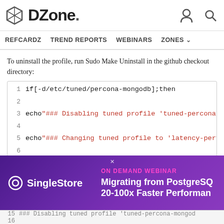DZone.
REFCARDZ   TREND REPORTS   WEBINARS   ZONES
To uninstall the profile, run Sudo Make Uninstall in the github checkout directory:
[Figure (screenshot): Code block showing shell script lines 1-9: if[-d/etc/tuned/percona-mongodb];then, echo"### Disabling tuned profile 'tuned-percona-m..., echo"### Changing tuned profile to 'latency-perfo..., tuned-adm profile latency-performance;, tuned-adm active;]
[Figure (screenshot): Advertisement banner for SingleStore: ON DEMAND WEBINAR - Migrating from PostgreSQL 20-100x Faster Performance]
15  ### Disabling tuned profile 'tuned-percona-mongod
16